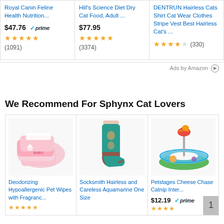Royal Canin Feline Health Nutrition... $47.76 prime (1091)
Hill's Science Diet Dry Cat Food, Adult ... $77.95 (3374)
DENTRUN Hairless Cats Shirt Cat Wear Clothes Stripe Vest Best Hairless Cat's ... (330)
Ads by Amazon
We Recommend For Sphynx Cat Lovers
Deodorizing Hypoallergenic Pet Wipes with Fragranc...
[Figure (photo): Pink deodorizing hypoallergenic pet wipes packages]
Socksmith Hairless and Careless Aquamarine One Size
[Figure (photo): Teal sock with sphynx cat pattern]
Petstages Cheese Chase Catnip Inter... $12.19 prime
[Figure (photo): Petstages Cheese Chase Catnip Interactive cat toy - circular green/blue track with bird toy on top]